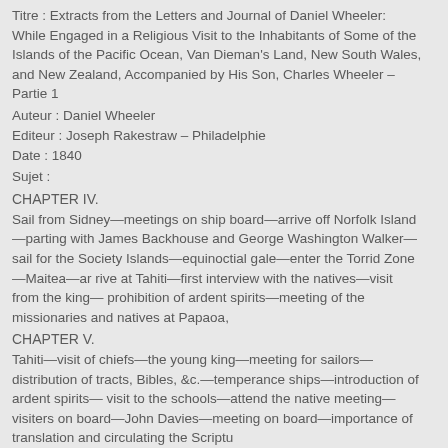Titre : Extracts from the Letters and Journal of Daniel Wheeler: While Engaged in a Religious Visit to the Inhabitants of Some of the Islands of the Pacific Ocean, Van Dieman's Land, New South Wales, and New Zealand, Accompanied by His Son, Charles Wheeler – Partie 1
Auteur : Daniel Wheeler
Editeur : Joseph Rakestraw – Philadelphie
Date : 1840
Sujet :
CHAPTER IV.
Sail from Sidney—meetings on ship board—arrive off Norfolk Island—parting with James Backhouse and George Washington Walker—sail for the Society Islands—equinoctial gale—enter the Torrid Zone—Maitea—ar rive at Tahiti—first interview with the natives—visit from the king— prohibition of ardent spirits—meeting of the missionaries and natives at Papaoa,
CHAPTER V.
Tahiti—visit of chiefs—the young king—meeting for sailors—distribution of tracts, Bibles, &c.—temperance ships—introduction of ardent spirits— visit to the schools—attend the native meeting—visiters on board—John Davies—meeting on board—importance of translation and circulating the Scriptures